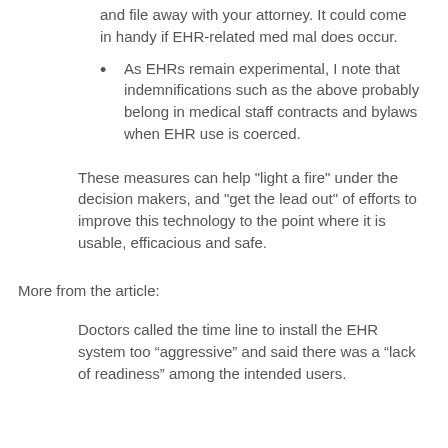and file away with your attorney. It could come in handy if EHR-related med mal does occur.
As EHRs remain experimental, I note that indemnifications such as the above probably belong in medical staff contracts and bylaws when EHR use is coerced.
These measures can help "light a fire" under the decision makers, and "get the lead out" of efforts to improve this technology to the point where it is usable, efficacious and safe.
More from the article:
Doctors called the time line to install the EHR system too “aggressive” and said there was a “lack of readiness” among the intended users.